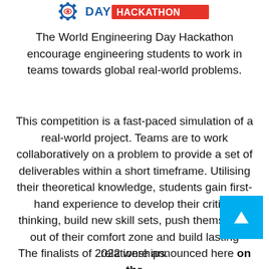[Figure (logo): World Engineering Day Hackathon logo — gear/eye icon on left, DAY HACKATHON text in blue/red on right]
The World Engineering Day Hackathon encourage engineering students to work in teams towards global real-world problems.
This competition is a fast-paced simulation of a real-world project. Teams are to work collaboratively on a problem to provide a set of deliverables within a short timeframe. Utilising their theoretical knowledge, students gain first-hand experience to develop their critical thinking, build new skill sets, push themselves out of their comfort zone and build lasting relationships.
The finalists of 2022 were announced here on the